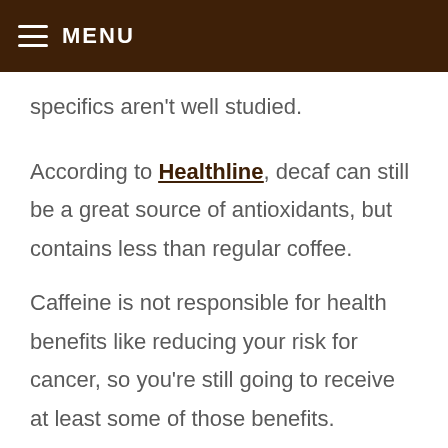MENU
specifics aren't well studied. According to Healthline, decaf can still be a great source of antioxidants, but contains less than regular coffee.
Caffeine is not responsible for health benefits like reducing your risk for cancer, so you're still going to receive at least some of those benefits. However, without caffeine, some other benefits are lost. For example, drinking decaf